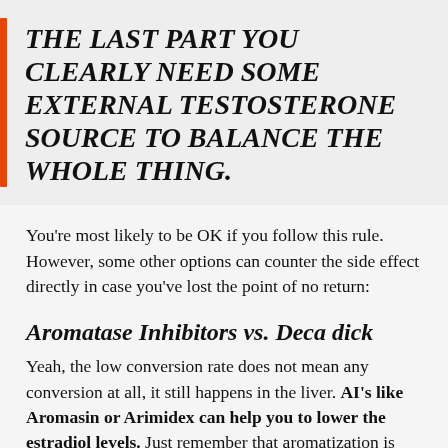THE LAST PART YOU CLEARLY NEED SOME EXTERNAL TESTOSTERONE SOURCE TO BALANCE THE WHOLE THING.
You’re most likely to be OK if you follow this rule. However, some other options can counter the side effect directly in case you’ve lost the point of no return:
Aromatase Inhibitors vs. Deca dick
Yeah, the low conversion rate does not mean any conversion at all, it still happens in the liver. AI’s like Aromasin or Arimidex can help you to lower the estradiol levels. Just remember that aromatization is basically limited with Nandrolone, and it’s really not…